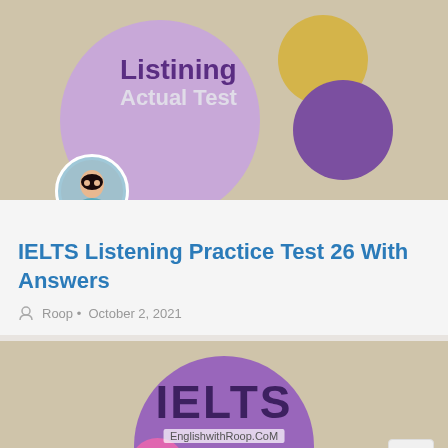[Figure (illustration): Thumbnail image with lavender, gold, and dark purple circles on a beige textured background. Text reads 'Listining Actual Test' in purple and light colors. A circular avatar of a woman is overlapping the bottom-left of the thumbnail.]
IELTS Listening Practice Test 26 With Answers
Roop • October 2, 2021
[Figure (illustration): Thumbnail image with a large purple circle on a beige textured background. Bold dark text reads 'IELTS' with 'EnglishwithRoop.CoM' below it in smaller text. A small pink circle is in the lower-left area.]